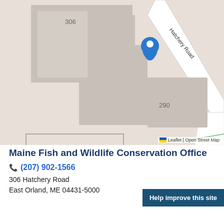[Figure (map): OpenStreetMap showing 306 Hatchery Road, East Orland, ME. Buildings labeled 306, 290, and 272. A blue location pin marks 306. Hatchery Road runs diagonally. Attribution: Leaflet | Open Street Map.]
Maine Fish and Wildlife Conservation Office
(207) 902-1566
306 Hatchery Road
East Orland, ME 04431-5000